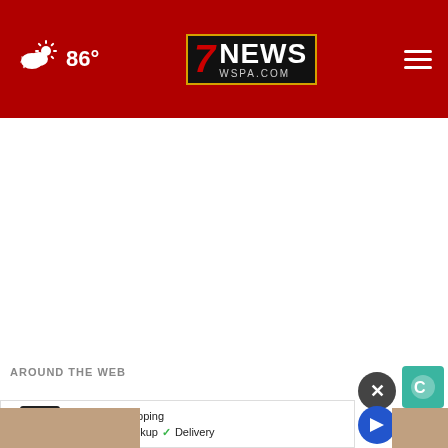7NEWS WSPA.COM — 86° weather — navigation header
[Figure (screenshot): Large white empty content area below the red navigation header]
AROUND THE WEB
[Figure (screenshot): Ad banner: cm logo, In-store shopping, Curbside pickup, Delivery checkmarks]
[Figure (photo): Partial photo thumbnails at the bottom of the page]